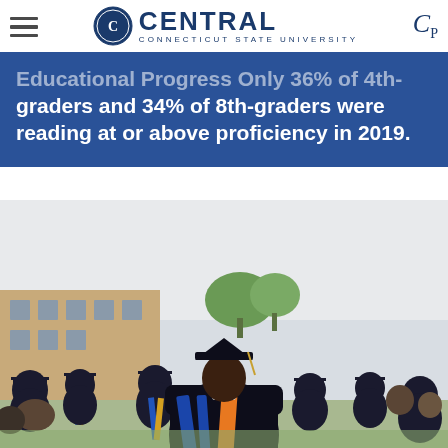Central Connecticut State University
Educational Progress Only 36% of 4th-graders and 34% of 8th-graders were reading at or above proficiency in 2019.
[Figure (photo): Graduation ceremony photo showing students from behind wearing black caps and gowns with blue and orange sashes, at an outdoor commencement ceremony.]